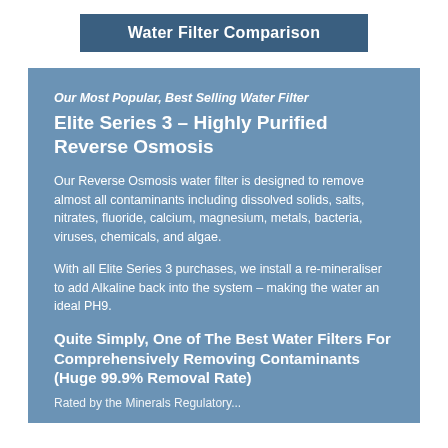Water Filter Comparison
Our Most Popular, Best Selling Water Filter
Elite Series 3 – Highly Purified Reverse Osmosis
Our Reverse Osmosis water filter is designed to remove almost all contaminants including dissolved solids, salts, nitrates, fluoride, calcium, magnesium, metals, bacteria, viruses, chemicals, and algae.
With all Elite Series 3 purchases, we install a re-mineraliser to add Alkaline back into the system – making the water an ideal PH9.
Quite Simply, One of The Best Water Filters For Comprehensively Removing Contaminants (Huge 99.9% Removal Rate)
Rated by the Minerals Regulatory...